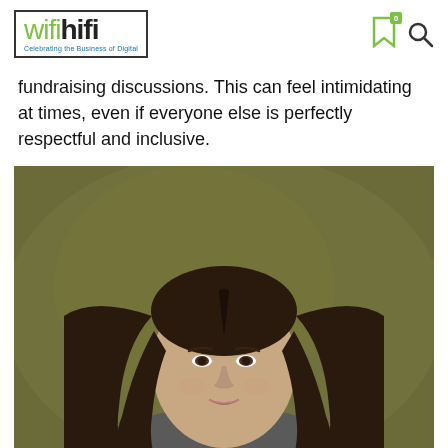wifihifi — Celebrating the Business of Digital
fundraising discussions. This can feel intimidating at times, even if everyone else is perfectly respectful and inclusive.
[Figure (photo): Professional headshot of a young woman with long dark hair, wearing a grey top, against an olive/dark yellow-green background]